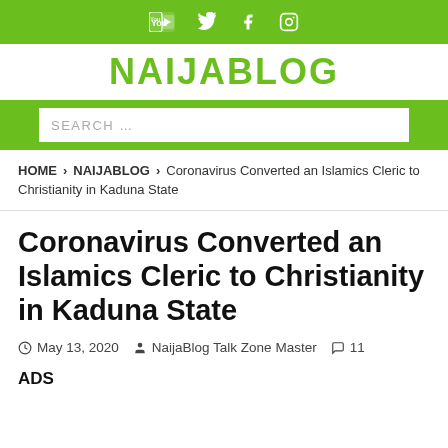NAIJABLOG — social icons header bar
NAIJABLOG
SEARCH …
HOME > NAIJABLOG > Coronavirus Converted an Islamics Cleric to Christianity in Kaduna State
Coronavirus Converted an Islamics Cleric to Christianity in Kaduna State
May 13, 2020   NaijaBlog Talk Zone Master   11
ADS